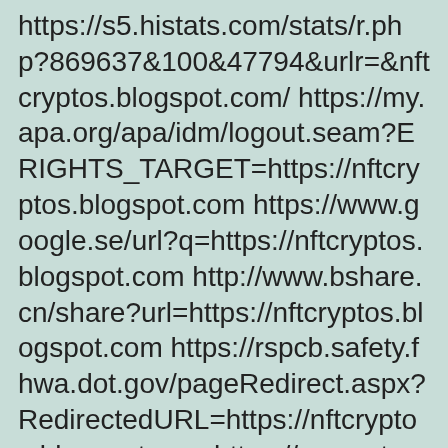https://s5.histats.com/stats/r.php?869637&100&47794&urlr=&nftcryptos.blogspot.com/ https://my.apa.org/apa/idm/logout.seam?ERIGHTS_TARGET=https://nftcryptos.blogspot.com https://www.google.se/url?q=https://nftcryptos.blogspot.com http://www.bshare.cn/share?url=https://nftcryptos.blogspot.com https://rspcb.safety.fhwa.dot.gov/pageRedirect.aspx?RedirectedURL=https://nftcryptos.blogspot.com https://www.etracker.de/lnkcnt.php?et=qPKGYV&url=https://nftcryptos.blogspot.com https://www.treasury.gov/cgi-